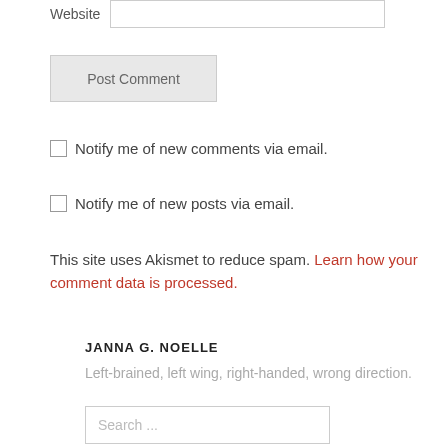Website
Post Comment
Notify me of new comments via email.
Notify me of new posts via email.
This site uses Akismet to reduce spam. Learn how your comment data is processed.
JANNA G. NOELLE
Left-brained, left wing, right-handed, wrong direction.
Search ...